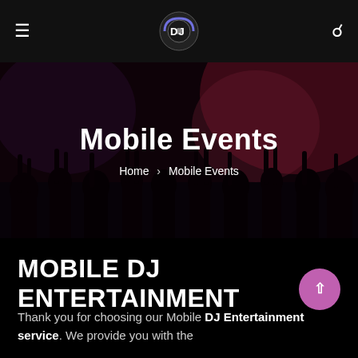≡  [DJ Logo]  🔍
Mobile Events
Home > Mobile Events
MOBILE DJ ENTERTAINMENT
Thank you for choosing our Mobile DJ Entertainment service. We provide you with the